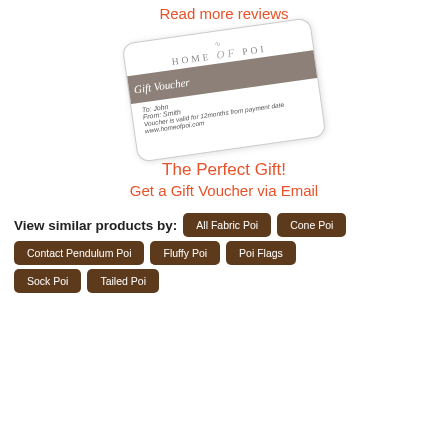Read more reviews
[Figure (illustration): Home of Poi Gift Voucher card, slightly rotated, showing logo, 'Gift Voucher' banner in gray, 'To: John', 'From: Smith', validity text and website URL]
The Perfect Gift!
Get a Gift Voucher via Email
View similar products by:
All Fabric Poi
Cone Poi
Contact Pendulum Poi
Fluffy Poi
Poi Flags
Sock Poi
Tailed Poi